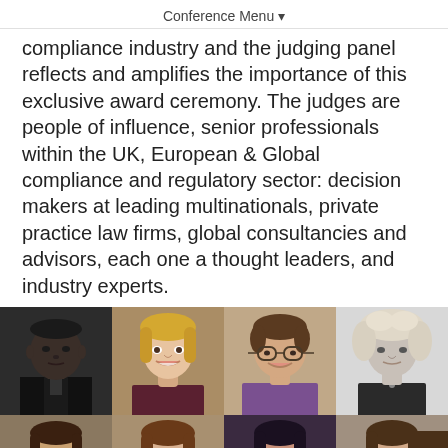Conference Menu ▾
compliance industry and the judging panel reflects and amplifies the importance of this exclusive award ceremony. The judges are people of influence, senior professionals within the UK, European & Global compliance and regulatory sector: decision makers at leading multinationals, private practice law firms, global consultancies and advisors, each one a thought leaders, and industry experts.
[Figure (photo): Grid of 8 headshot photos of judges — 4 in top row (man in dark suit, blonde woman, woman with glasses, woman with curly grey-blonde hair) and 4 in bottom row (brunette women, partial view), with a teal 'Message' button overlay on bottom right.]